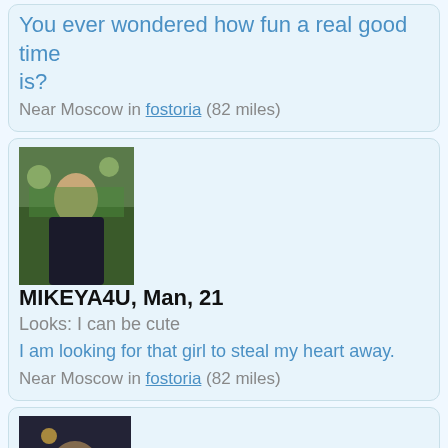You ever wondered how fun a real good time is?
Near Moscow in fostoria (82 miles)
[Figure (photo): Profile photo of MIKEYA4U showing person at outdoor event]
MIKEYA4U, Man, 21
Looks: I can be cute
I am looking for that girl to steal my heart away.
Near Moscow in fostoria (82 miles)
[Figure (photo): Profile photo of MRMAYHEMM showing person indoors]
MRMAYHEMM, Man, 46